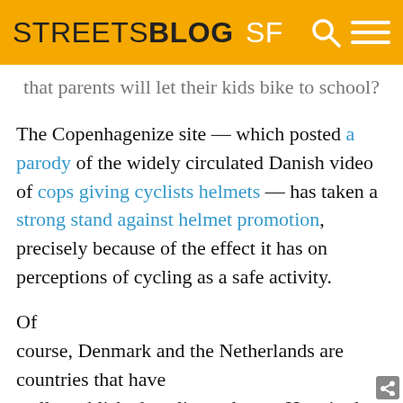STREETSBLOG SF
that parents will let their kids bike to school?
The Copenhagenize site — which posted a parody of the widely circulated Danish video of cops giving cyclists helmets — has taken a strong stand against helmet promotion, precisely because of the effect it has on perceptions of cycling as a safe activity.
Of course, Denmark and the Netherlands are countries that have well-established cycling cultures. Here in the U.S., we are just at the beginning (we hope) of establishing such a culture. The question is how